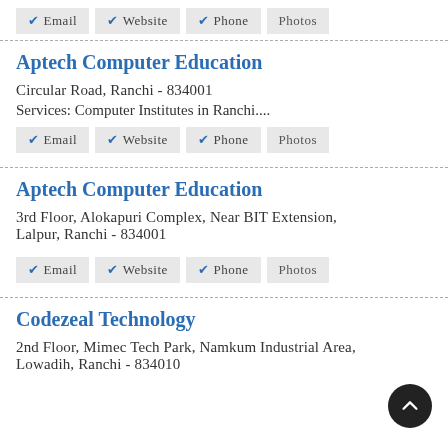Email  Website  Phone  Photos
Aptech Computer Education
Circular Road, Ranchi - 834001
Services: Computer Institutes in Ranchi....
Email  Website  Phone  Photos
Aptech Computer Education
3rd Floor, Alokapuri Complex, Near BIT Extension, Lalpur, Ranchi - 834001
Email  Website  Phone  Photos
Codezeal Technology
2nd Floor, Mimec Tech Park, Namkum Industrial Area, Lowadih, Ranchi - 834010